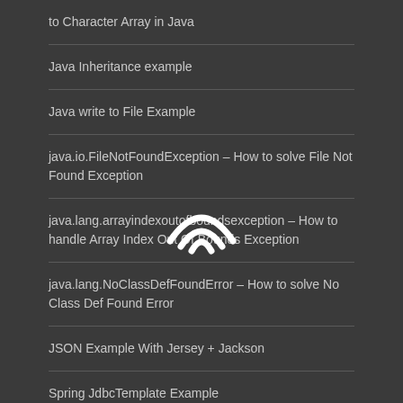to Character Array in Java
Java Inheritance example
Java write to File Example
java.io.FileNotFoundException – How to solve File Not Found Exception
java.lang.arrayindexoutofboundsexception – How to handle Array Index Out Of Bounds Exception
[Figure (illustration): WiFi signal icon rendered in white on dark background]
java.lang.NoClassDefFoundError – How to solve No Class Def Found Error
JSON Example With Jersey + Jackson
Spring JdbcTemplate Example
ABOUT JAVA CODE GEEKS
JCGs (Java Code Geeks) is an independent online community focused on creating the ultimate Java to Java developers resource center; targeted at the technical architect